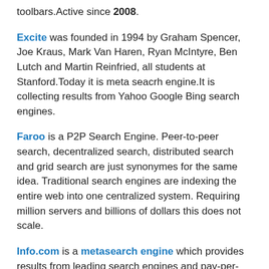toolbars.Active since 2008.
Excite was founded in 1994 by Graham Spencer, Joe Kraus, Mark Van Haren, Ryan McIntyre, Ben Lutch and Martin Reinfried, all students at Stanford.Today it is meta seacrh engine.It is collecting results from Yahoo Google Bing search engines.
Faroo is a P2P Search Engine. Peer-to-peer search, decentralized search, distributed search and grid search are just synonymes for the same idea. Traditional search engines are indexing the entire web into one centralized system. Requiring million servers and billions of dollars this does not scale.
Info.com is a metasearch engine which provides results from leading search engines and pay-per-click directories, including Google, Yahoo!, Bing.com, Ask, LookSmart, About and Open Directory.
Gigablast was founded in 2000 by Matt Wells to index up to